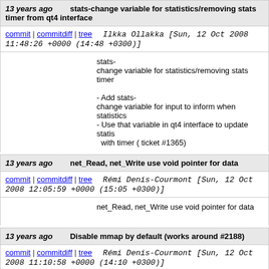13 years ago   stats-change variable for statistics/removing stats timer from qt4 interface
commit | commitdiff | tree   Ilkka Ollakka [Sun, 12 Oct 2008 11:48:26 +0000 (14:48 +0300)]
stats-change variable for statistics/removing stats timer

- Add stats-change variable for input to inform when statistics
- Use that variable in qt4 interface to update statis with timer ( ticket #1365)
13 years ago   net_Read, net_Write use void pointer for data
commit | commitdiff | tree   Rémi Denis-Courmont [Sun, 12 Oct 2008 12:05:59 +0000 (15:05 +0300)]
net_Read, net_Write use void pointer for data
13 years ago   Disable mmap by default (works around #2188)
commit | commitdiff | tree   Rémi Denis-Courmont [Sun, 12 Oct 2008 11:10:58 +0000 (14:10 +0300)]